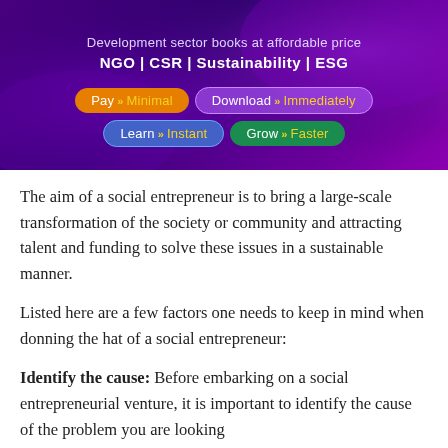[Figure (infographic): A promotional banner with purple gradient background showing 'Development sector books at affordable price' with categories NGO | CSR | Sustainability | ESG, and four colored pill buttons: Pay >> Minimal, Download >> Immediately, Learn >> Instant, Grow >> Faster]
The aim of a social entrepreneur is to bring a large-scale transformation of the society or community and attracting talent and funding to solve these issues in a sustainable manner.
Listed here are a few factors one needs to keep in mind when donning the hat of a social entrepreneur:
Identify the cause: Before embarking on a social entrepreneurial venture, it is important to identify the cause of the problem you are looking